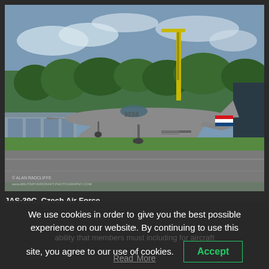[Figure (photo): A JAS-39C Gripen fighter jet of the Czech Air Force taking off or landing on a runway. The aircraft is silver/grey with Czech flag colors (red, white, blue) on the tail. Yellow crane visible in background, green trees, and an airport building on the left. Aircraft number 9238 visible on fuselage.]
JAS-39C, Czech Air Force
We use cookies in order to give you the best possible experience on our website. By continuing to use this site, you agree to our use of cookies.
Accept
Read More